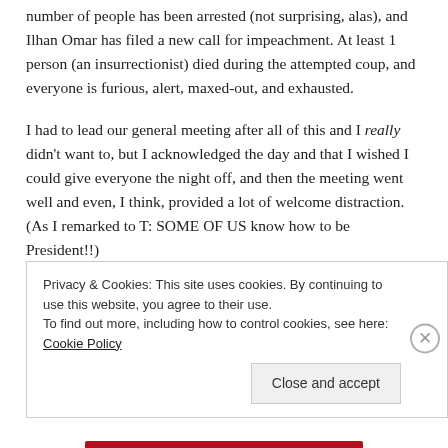number of people has been arrested (not surprising, alas), and Ilhan Omar has filed a new call for impeachment. At least 1 person (an insurrectionist) died during the attempted coup, and everyone is furious, alert, maxed-out, and exhausted.
I had to lead our general meeting after all of this and I really didn't want to, but I acknowledged the day and that I wished I could give everyone the night off, and then the meeting went well and even, I think, provided a lot of welcome distraction. (As I remarked to T: SOME OF US know how to be President!!)
Privacy & Cookies: This site uses cookies. By continuing to use this website, you agree to their use.
To find out more, including how to control cookies, see here: Cookie Policy
Close and accept